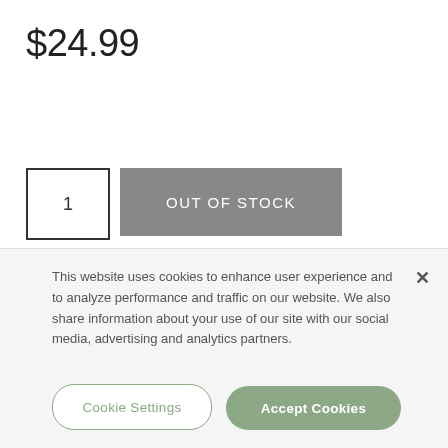$24.99
1
OUT OF STOCK
Please expect delivery within 5-7 business days if item is in
This website uses cookies to enhance user experience and to analyze performance and traffic on our website. We also share information about your use of our site with our social media, advertising and analytics partners.
Cookie Settings
Accept Cookies